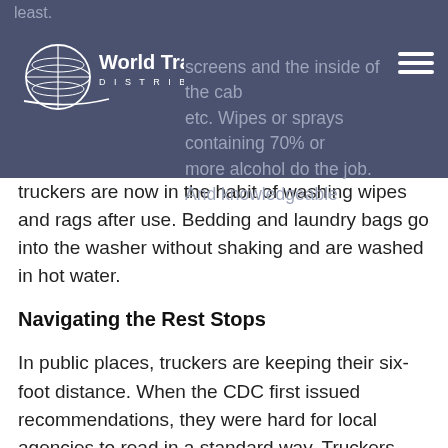least.
[Figure (logo): World Trade Distribution, Inc. logo with globe graphic and white text]
screens and the inside of the cab, etc. Wipes or sprays containing 70% or more alcohol do the job. And knowledgeable truckers are now in the habit of washing wipes and rags after use. Bedding and laundry bags go into the washer without shaking and are washed in hot water.
Navigating the Rest Stops
In public places, truckers are keeping their six-foot distance. When the CDC first issued recommendations, they were hard for local agencies to read in a standard way. Truckers were shut out of areas all together or forced to deal with prolonged waiting. This caused more than a little inconvenience. Commercial drivers, and truck stop employees as well, are deemed essential